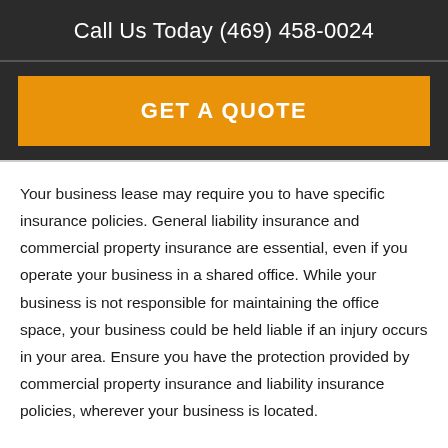Call Us Today (469) 458-0024
GET A QUOTE
Your business lease may require you to have specific insurance policies. General liability insurance and commercial property insurance are essential, even if you operate your business in a shared office. While your business is not responsible for maintaining the office space, your business could be held liable if an injury occurs in your area. Ensure you have the protection provided by commercial property insurance and liability insurance policies, wherever your business is located.
Coworking has become one of the most popular...